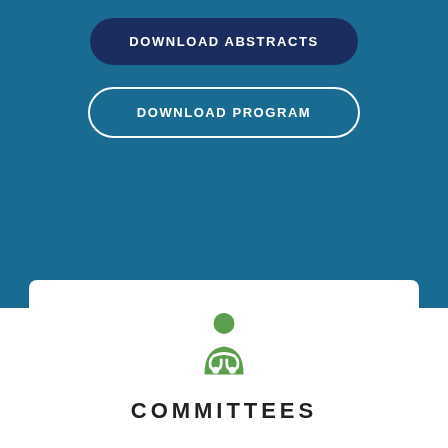DOWNLOAD ABSTRACTS
DOWNLOAD PROGRAM
[Figure (illustration): Green doctor/medical professional icon with stethoscope]
COMMITTEES